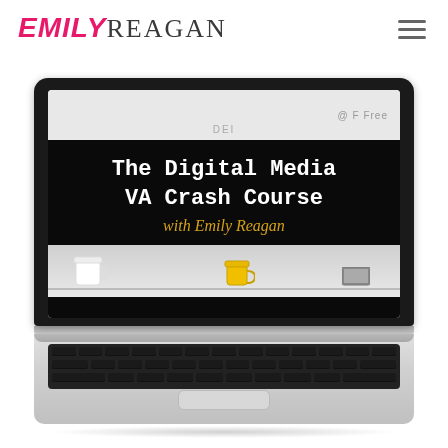[Figure (logo): Emily Reagan brand logo with EMILY in pink italic bold and REAGAN in dark serif letters]
[Figure (illustration): Laptop computer displaying 'The Digital Media VA Crash Course with Emily Reagan' course promotional image, with white and yellow mugs visible at the bottom of the screen]